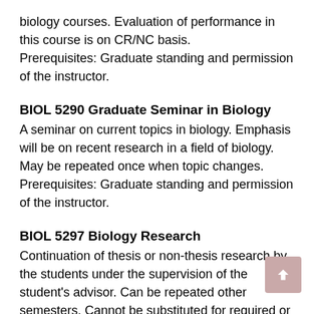biology courses. Evaluation of performance in this course is on CR/NC basis.
Prerequisites: Graduate standing and permission of the instructor.
BIOL 5290 Graduate Seminar in Biology
A seminar on current topics in biology. Emphasis will be on recent research in a field of biology. May be repeated once when topic changes.
Prerequisites: Graduate standing and permission of the instructor.
BIOL 5297 Biology Research
Continuation of thesis or non-thesis research by the students under the supervision of the student's advisor. Can be repeated other semesters. Cannot be substituted for required or elective graduate